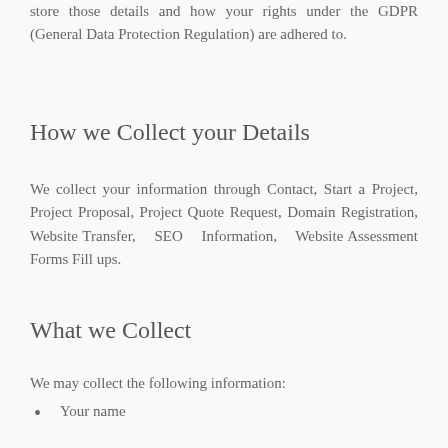store those details and how your rights under the GDPR (General Data Protection Regulation) are adhered to.
How we Collect your Details
We collect your information through Contact, Start a Project, Project Proposal, Project Quote Request, Domain Registration, Website Transfer, SEO Information, Website Assessment Forms Fill ups.
What we Collect
We may collect the following information:
Your name